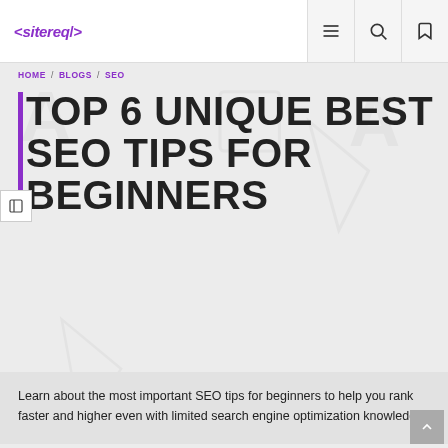<sitereq/>
HOME / BLOGS / SEO
TOP 6 UNIQUE BEST SEO TIPS FOR BEGINNERS
Learn about the most important SEO tips for beginners to help you rank faster and higher even with limited search engine optimization knowledge.